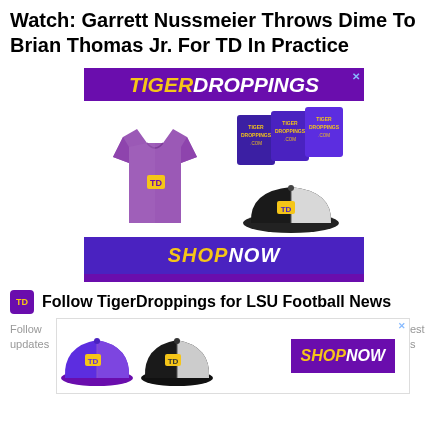Watch: Garrett Nussmeier Throws Dime To Brian Thomas Jr. For TD In Practice
[Figure (illustration): TigerDroppings advertisement banner showing purple t-shirt with TD logo, purple can koozies with TigerDroppings.com text, black and white trucker hat with TD logo, and a SHOP NOW button at the bottom. Purple bar beneath.]
[Figure (illustration): TigerDroppings follow block with TD logo icon, Follow TigerDroppings for LSU Football News text, and a bottom ad banner with two hats and SHOP NOW button.]